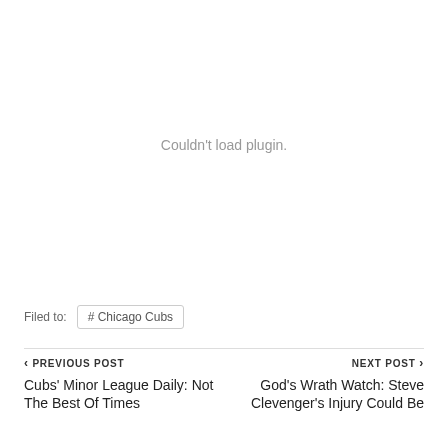Couldn't load plugin.
Filed to:  #Chicago Cubs
< PREVIOUS POST  Cubs' Minor League Daily: Not The Best Of Times   NEXT POST >  God's Wrath Watch: Steve Clevenger's Injury Could Be